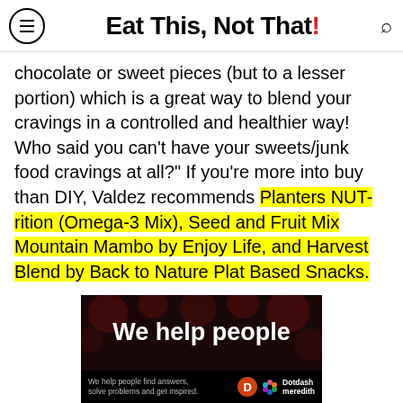Eat This, Not That!
chocolate or sweet pieces (but to a lesser portion) which is a great way to blend your cravings in a controlled and healthier way! Who said you can't have your sweets/junk food cravings at all?" If you're more into buy than DIY, Valdez recommends Planters NUT-rition (Omega-3 Mix), Seed and Fruit Mix Mountain Mambo by Enjoy Life, and Harvest Blend by Back to Nature Plat Based Snacks.
[Figure (screenshot): Advertisement banner with dark background showing 'We help people' in large white bold text, with smaller text 'We help people find answers, solve problems and get inspired.' and Dotdash Meredith logo]